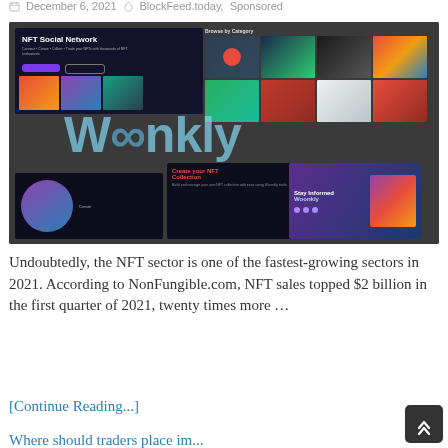December 6, 2021   BlockFeed.today   Sponsored
[Figure (screenshot): Woonkly NFT Social Network website screenshot showing NFT gallery browsing interface with colorful NFT thumbnails, Woonkly logo overlay, and sections for creating NFT collections and staying informed]
Undoubtedly, the NFT sector is one of the fastest-growing sectors in 2021. According to NonFungible.com, NFT sales topped $2 billion in the first quarter of 2021, twenty times more …
[Continue Reading...]
Where should traders place im...